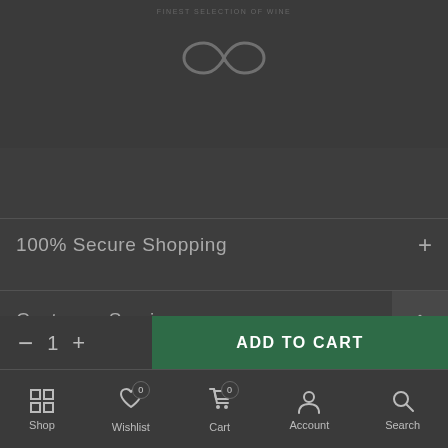[Figure (logo): Infinity symbol logo with small text above it on dark background]
100% Secure Shopping
Customer Services
About Winemen
− 1 +
ADD TO CART
Shop  Wishlist 0  Cart 0  Account  Search